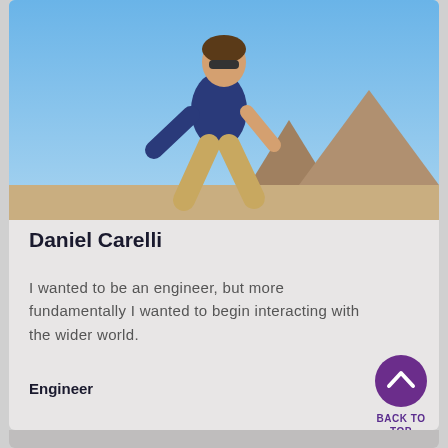[Figure (photo): A man in a blue t-shirt and khaki pants jumping or leaning near the Egyptian pyramids under a bright blue sky.]
Daniel Carelli
I wanted to be an engineer, but more fundamentally I wanted to begin interacting with the wider world.
Engineer
BACK TO TOP